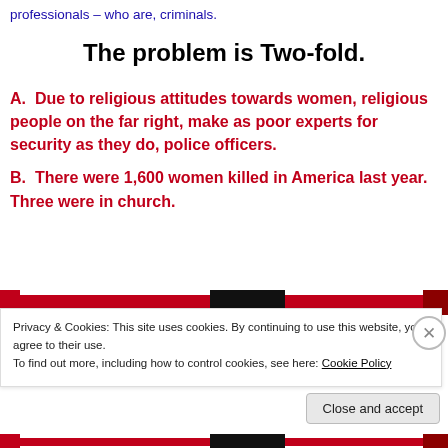professionals – who are, criminals.
The problem is Two-fold.
A.  Due to religious attitudes towards women, religious people on the far right, make as poor experts for security as they do, police officers.
B.  There were 1,600 women killed in America last year.  Three were in church.
[Figure (other): Horizontal image strip with red, black, and dark red sections forming a decorative banner]
Privacy & Cookies: This site uses cookies. By continuing to use this website, you agree to their use.
To find out more, including how to control cookies, see here: Cookie Policy
Close and accept